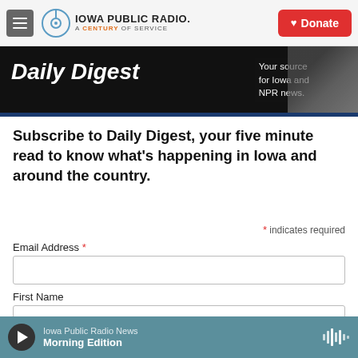Iowa Public Radio. A Century of Service | Donate
[Figure (screenshot): Daily Digest banner — black background with bold white italic text 'Daily Digest' and tagline 'Your source for Iowa and NPR news.']
Subscribe to Daily Digest, your five minute read to know what's happening in Iowa and around the country.
* indicates required
Email Address *
First Name
Iowa Public Radio News  Morning Edition